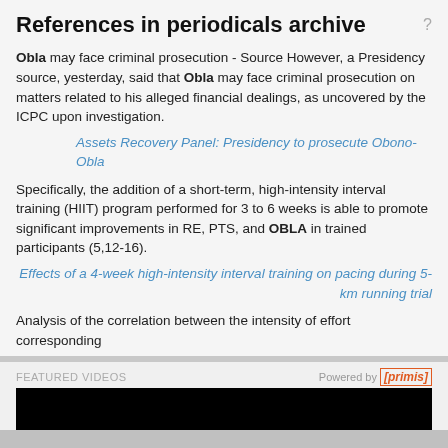References in periodicals archive
Obla may face criminal prosecution - Source However, a Presidency source, yesterday, said that Obla may face criminal prosecution on matters related to his alleged financial dealings, as uncovered by the ICPC upon investigation.
Assets Recovery Panel: Presidency to prosecute Obono-Obla
Specifically, the addition of a short-term, high-intensity interval training (HIIT) program performed for 3 to 6 weeks is able to promote significant improvements in RE, PTS, and OBLA in trained participants (5,12-16).
Effects of a 4-week high-intensity interval training on pacing during 5-km running trial
Analysis of the correlation between the intensity of effort corresponding
FEATURED VIDEOS
Powered by [primis]